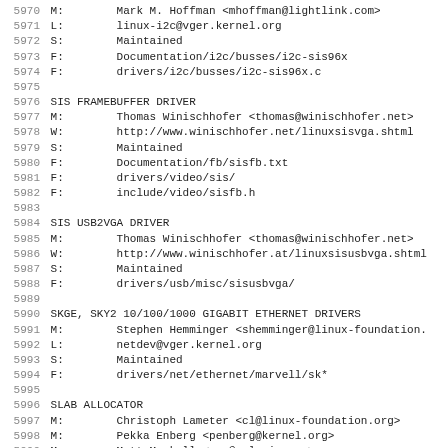5970 M:  Mark M. Hoffman <mhoffman@lightlink.com>
5971 L: linux-i2c@vger.kernel.org
5972 S: Maintained
5973 F: Documentation/i2c/busses/i2c-sis96x
5974 F: drivers/i2c/busses/i2c-sis96x.c
5975
5976 SIS FRAMEBUFFER DRIVER
5977 M: Thomas Winischhofer <thomas@winischhofer.net>
5978 W: http://www.winischhofer.net/linuxsisvga.shtml
5979 S: Maintained
5980 F: Documentation/fb/sisfb.txt
5981 F: drivers/video/sis/
5982 F: include/video/sisfb.h
5983
5984 SIS USB2VGA DRIVER
5985 M: Thomas Winischhofer <thomas@winischhofer.net>
5986 W: http://www.winischhofer.at/linuxsisusbvga.shtml
5987 S: Maintained
5988 F: drivers/usb/misc/sisusbvga/
5989
5990 SKGE, SKY2 10/100/1000 GIGABIT ETHERNET DRIVERS
5991 M: Stephen Hemminger <shemminger@linux-foundation.
5992 L: netdev@vger.kernel.org
5993 S: Maintained
5994 F: drivers/net/ethernet/marvell/sk*
5995
5996 SLAB ALLOCATOR
5997 M: Christoph Lameter <cl@linux-foundation.org>
5998 M: Pekka Enberg <penberg@kernel.org>
5999 M: Matt Mackall <mpm@selenic.com>
6000 L: linux-mm@kvack.org
6001 S: Maintained
6002 F: include/linux/sl?b*.h